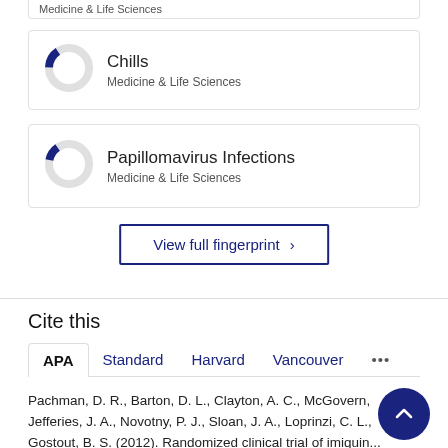[Figure (donut-chart): Small donut chart with a small blue segment, representing a low percentage for Chills in Medicine & Life Sciences]
Chills
Medicine & Life Sciences
[Figure (donut-chart): Small donut chart with a small blue segment, representing a low percentage for Papillomavirus Infections in Medicine & Life Sciences]
Papillomavirus Infections
Medicine & Life Sciences
View full fingerprint >
Cite this
APA   Standard   Harvard   Vancouver   ...
Pachman, D. R., Barton, D. L., Clayton, A. C., McGovern, Jefferies, J. A., Novotny, P. J., Sloan, J. A., Loprinzi, C. L., Gostout, B. S. (2012). Randomized clinical trial of imiquin... adjunct to treating cervical dysplasia. American journal of